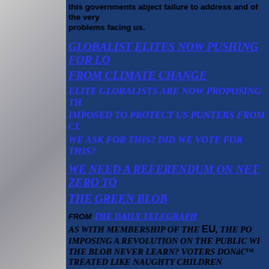this governments abject failure to address and of the very problems facing us.
Globalist Elites Now Pushing For Lo... From Climate Change
Elite globalists are now proposing th... imposed to protect us punters from cl... we ask for this? Did we vote for this?
We need a referendum on net zero to... the green blob
FROM The Daily Telegraph
As with membership of the EU, the pol... imposing a revolution on the public wi... the blob never learn? Voters donâ€™... treated like naughty children